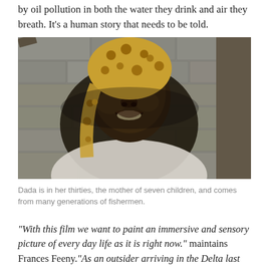by oil pollution in both the water they drink and air they breath. It's a human story that needs to be told.
[Figure (photo): Close-up portrait of a smiling African woman wearing a yellow and brown polka-dot headscarf, standing in front of a grey stone/concrete wall. She is wearing a white top.]
Dada is in her thirties, the mother of seven children, and comes from many generations of fishermen.
“With this film we want to paint an immersive and sensory picture of every day life as it is right now.” maintains Frances Feeny.“As an outsider arriving in the Delta last